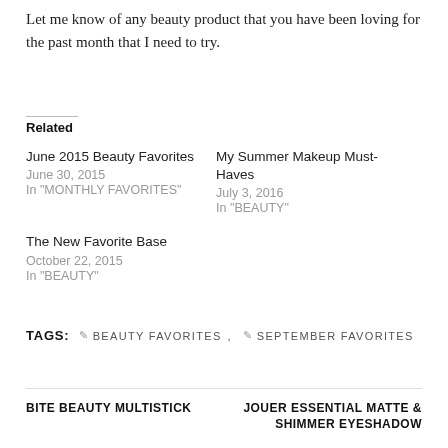Let me know of any beauty product that you have been loving for the past month that I need to try.
Related
June 2015 Beauty Favorites
June 30, 2015
In "MONTHLY FAVORITES"
My Summer Makeup Must-Haves
July 3, 2016
In "BEAUTY"
The New Favorite Base
October 22, 2015
In "BEAUTY"
TAGS:   ✎ BEAUTY FAVORITES,   ✎ SEPTEMBER FAVORITES
BITE BEAUTY MULTISTICK
JOUER ESSENTIAL MATTE & SHIMMER EYESHADOW